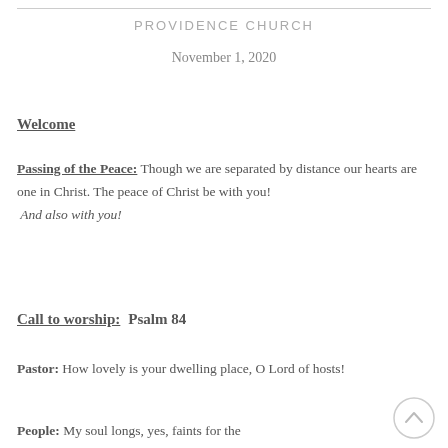PROVIDENCE CHURCH
November 1, 2020
Welcome
Passing of the Peace: Though we are separated by distance our hearts are one in Christ. The peace of Christ be with you! And also with you!
Call to worship:  Psalm 84
Pastor: How lovely is your dwelling place, O Lord of hosts!
People: My soul longs, yes, faints for the